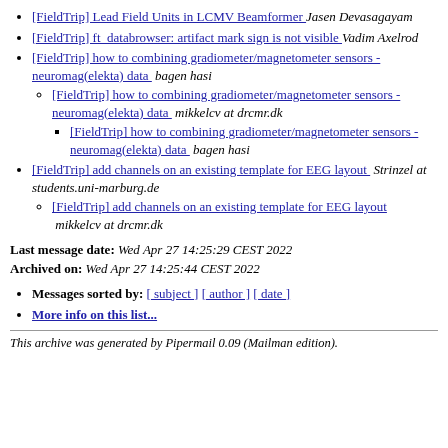[FieldTrip] Lead Field Units in LCMV Beamformer  Jasen Devasagayam
[FieldTrip] ft_databrowser: artifact mark sign is not visible  Vadim Axelrod
[FieldTrip] how to combining gradiometer/magnetometer sensors - neuromag(elekta) data  bagen hasi
[FieldTrip] how to combining gradiometer/magnetometer sensors - neuromag(elekta) data  mikkelcv at drcmr.dk
[FieldTrip] how to combining gradiometer/magnetometer sensors - neuromag(elekta) data  bagen hasi
[FieldTrip] add channels on an existing template for EEG layout  Strinzel at students.uni-marburg.de
[FieldTrip] add channels on an existing template for EEG layout  mikkelcv at drcmr.dk
Last message date: Wed Apr 27 14:25:29 CEST 2022
Archived on: Wed Apr 27 14:25:44 CEST 2022
Messages sorted by: [ subject ] [ author ] [ date ]
More info on this list...
This archive was generated by Pipermail 0.09 (Mailman edition).